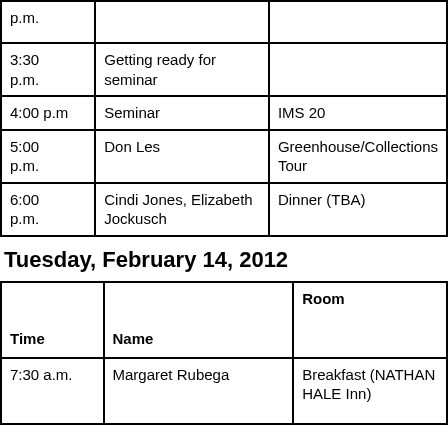| Time | Name | Room |
| --- | --- | --- |
| p.m. |  |  |
| 3:30 p.m. | Getting ready for seminar |  |
| 4:00 p.m | Seminar | IMS 20 |
| 5:00 p.m. | Don Les | Greenhouse/Collections Tour |
| 6:00 p.m. | Cindi Jones, Elizabeth Jockusch | Dinner (TBA) |
Tuesday, February 14, 2012
| Time | Name | Room |
| --- | --- | --- |
| 7:30 a.m. | Margaret Rubega | Breakfast (NATHAN HALE Inn) |